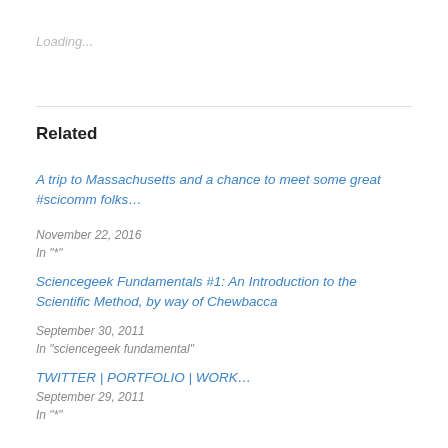Loading...
Related
A trip to Massachusetts and a chance to meet some great #scicomm folks…
November 22, 2016
In "*"
Sciencegeek Fundamentals #1: An Introduction to the Scientific Method, by way of Chewbacca
September 30, 2011
In "sciencegeek fundamental"
TWITTER | PORTFOLIO | WORK…
September 29, 2011
In "*"